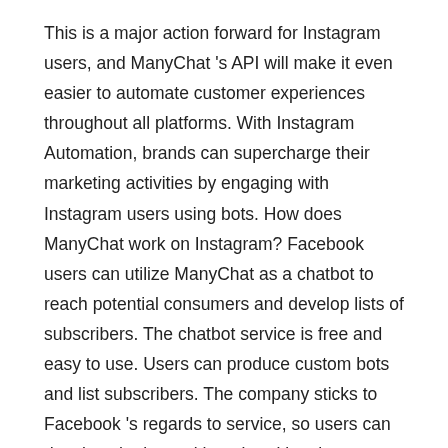This is a major action forward for Instagram users, and ManyChat 's API will make it even easier to automate customer experiences throughout all platforms. With Instagram Automation, brands can supercharge their marketing activities by engaging with Instagram users using bots. How does ManyChat work on Instagram? Facebook users can utilize ManyChat as a chatbot to reach potential consumers and develop lists of subscribers. The chatbot service is free and easy to use. Users can produce custom bots and list subscribers. The company sticks to Facebook 's regards to service, so users can develop chatbots without breaking them. ManyChat is compatible with both Facebook and Messenger. ManyChat has a free trial version readily available for download.
With manyChat, you can send automated follow-up messages and webinar invites. You can likewise call and set up consultations contact number to follow-up with prospective customers. ManyChat is perfect for business that have a sales procedure. When you 've built a list, you can utilize the platform to follow up